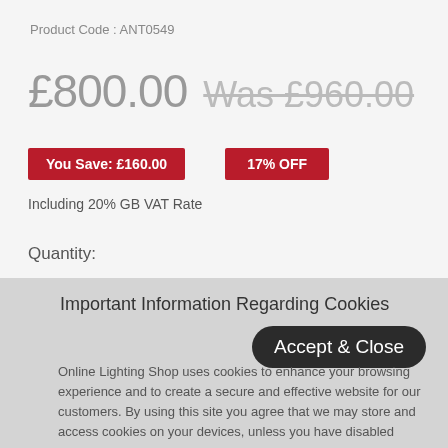Product Code : ANT0549
£800.00  Was £960.00
You Save: £160.00
17% OFF
Including 20% GB VAT Rate
Quantity:
Important Information Regarding Cookies
Accept & Close
Online Lighting Shop uses cookies to enhance your browsing experience and to create a secure and effective website for our customers. By using this site you agree that we may store and access cookies on your devices, unless you have disabled cookies on your browser. You can find out more on our cookie policy here.